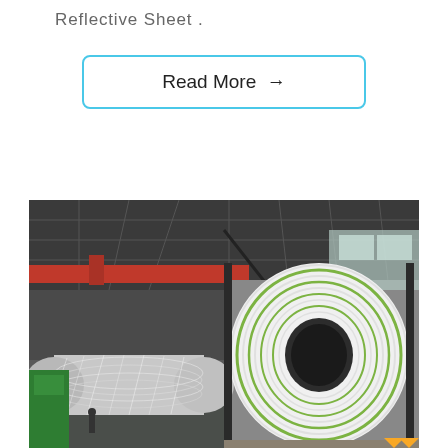Reflective Sheet .
Read More →
[Figure (photo): Industrial warehouse interior showing large rolls of sheet material (white with green stripe pattern) being handled by overhead crane equipment. Left side shows a roll being wrapped in plastic film with industrial machinery; right side shows a large coil roll standing upright revealing the layered green-striped cross-section.]